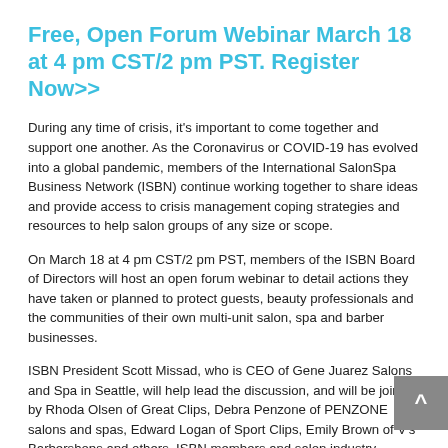Free, Open Forum Webinar March 18 at 4 pm CST/2 pm PST. Register Now>>
During any time of crisis, it's important to come together and support one another. As the Coronavirus or COVID-19 has evolved into a global pandemic, members of the International SalonSpa Business Network (ISBN) continue working together to share ideas and provide access to crisis management coping strategies and resources to help salon groups of any size or scope.
On March 18 at 4 pm CST/2 pm PST, members of the ISBN Board of Directors will host an open forum webinar to detail actions they have taken or planned to protect guests, beauty professionals and the communities of their own multi-unit salon, spa and barber businesses.
ISBN President Scott Missad, who is CEO of Gene Juarez Salons and Spa in Seattle, will help lead the discussion, and will be joined by Rhoda Olsen of Great Clips, Debra Penzone of PENZONE salons and spas, Edward Logan of Sport Clips, Emily Brown of V's Barbershops and others. ISBN members and salon industry leaders and friends are encouraged to register and submit your concerns during the session.